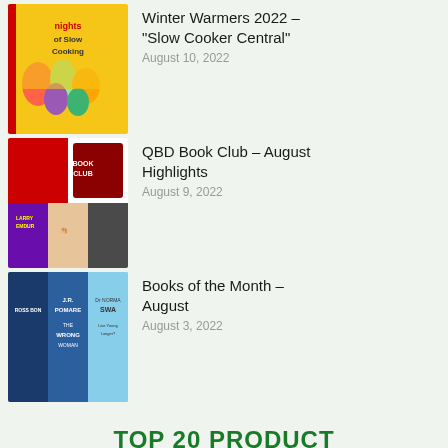Winter Warmers 2022 – "Slow Cooker Central"
August 10, 2022
QBD Book Club – August Highlights
August 9, 2022
Books of the Month – August
August 3, 2022
TOP 20 PRODUCT
Falling
T. J. Newman